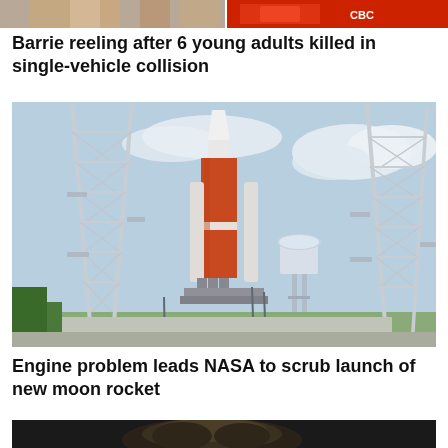[Figure (photo): Partial view of a news image at the top of the page showing people, partially cropped]
Barrie reeling after 6 young adults killed in single-vehicle collision
[Figure (photo): NASA Space Launch System (SLS) moon rocket on the launch pad at Kennedy Space Center, flanked by two steel launch towers, with a water tower visible in the background and blue cloudy sky]
Engine problem leads NASA to scrub launch of new moon rocket
[Figure (photo): Partial view of a news image at the bottom of the page, partially cropped, showing a person]